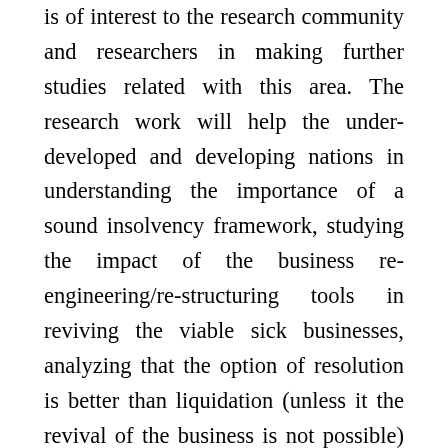is of interest to the research community and researchers in making further studies related with this area. The research work will help the under-developed and developing nations in understanding the importance of a sound insolvency framework, studying the impact of the business re-engineering/re-structuring tools in reviving the viable sick businesses, analyzing that the option of resolution is better than liquidation (unless it the revival of the business is not possible) with the help of Case Studies and will also help in building a strong edifice of the insolvency framework. The study will play a critical role in increasing the competitiveness of the business sector and facilitating the provision